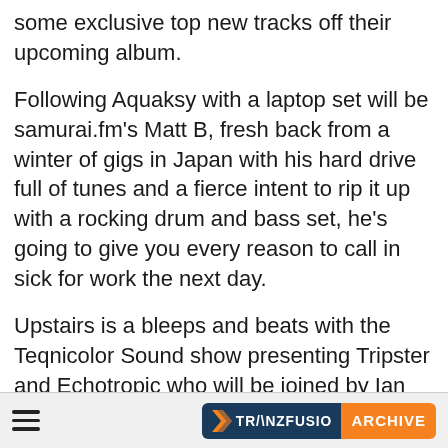some exclusive top new tracks off their upcoming album.
Following Aquaksy with a laptop set will be samurai.fm's Matt B, fresh back from a winter of gigs in Japan with his hard drive full of tunes and a fierce intent to rip it up with a rocking drum and bass set, he's going to give you every reason to call in sick for work the next day.
Upstairs is a bleeps and beats with the Teqnicolor Sound show presenting Tripster and Echotropic who will be joined by Ian O'Brien.
Ian is one of the most revered contemporary producers of electronic music. His 1997 debut, "Desert Scores', the man's masterpiece, is still considered a landmark release
≡  TRANZFUSION ARCHIVE